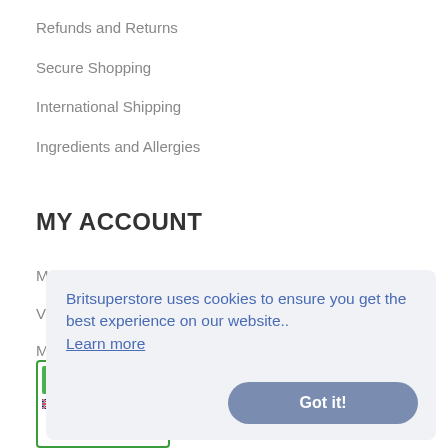Refunds and Returns
Secure Shopping
International Shipping
Ingredients and Allergies
MY ACCOUNT
My Account
View Basket
Mail Forwarding
Guest Order Tracking
Britsuperstore uses cookies to ensure you get the best experience on our website.. Learn more
Got it!
[Figure (other): Trust badge with green bars and UK flag with text 'Click to verify if this website is operating legally']